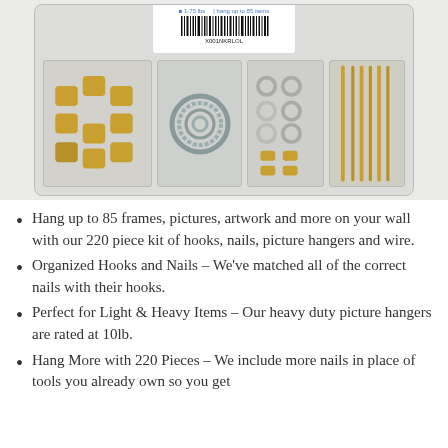[Figure (photo): Product photo of a clear plastic compartment box containing picture hanging hardware including gold/brass hooks, wire coil, small rings, and gold nails, with a white label showing barcode and text '1-75 lbs' and 'hang up to 85 items', barcode number X001NKRLOL]
Hang up to 85 frames, pictures, artwork and more on your wall with our 220 piece kit of hooks, nails, picture hangers and wire.
Organized Hooks and Nails – We've matched all of the correct nails with their hooks.
Perfect for Light & Heavy Items – Our heavy duty picture hangers are rated at 10lb.
Hang More with 220 Pieces – We include more nails in place of tools you already own so you get